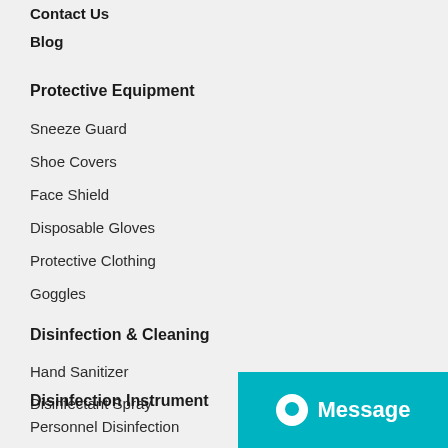Contact Us
Blog
Protective Equipment
Sneeze Guard
Shoe Covers
Face Shield
Disposable Gloves
Protective Clothing
Goggles
Disinfection & Cleaning
Hand Sanitizer
Disinfectant Spray
Disinfection Instrument
Personnel Disinfection